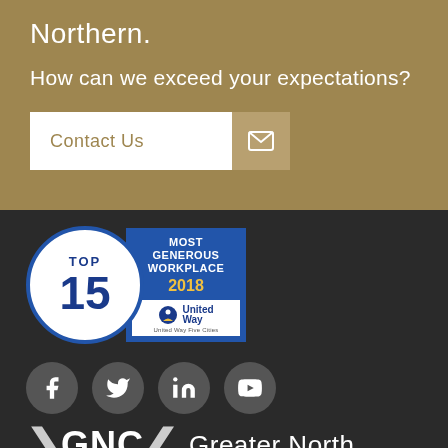Northern.
How can we exceed your expectations?
Contact Us
[Figure (logo): Top 15 Most Generous Workplace 2018 United Way badge]
[Figure (logo): Social media icons: Facebook, Twitter, LinkedIn, YouTube]
[Figure (logo): GNC Greater Northern logo with chevron marks]